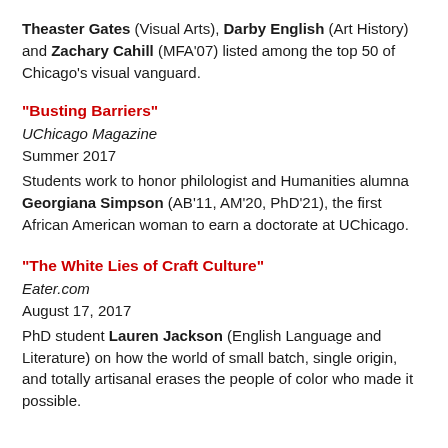Theaster Gates (Visual Arts), Darby English (Art History) and Zachary Cahill (MFA'07) listed among the top 50 of Chicago's visual vanguard.
"Busting Barriers"
UChicago Magazine
Summer 2017
Students work to honor philologist and Humanities alumna Georgiana Simpson (AB'11, AM'20, PhD'21), the first African American woman to earn a doctorate at UChicago.
"The White Lies of Craft Culture"
Eater.com
August 17, 2017
PhD student Lauren Jackson (English Language and Literature) on how the world of small batch, single origin, and totally artisanal erases the people of color who made it possible.